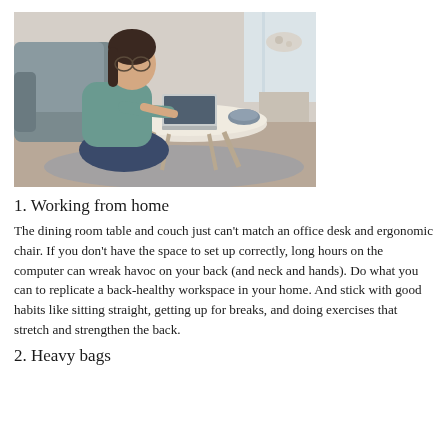[Figure (photo): A woman with glasses sitting on a couch, working on a laptop on a low coffee table in a home living room setting.]
1. Working from home
The dining room table and couch just can't match an office desk and ergonomic chair. If you don't have the space to set up correctly, long hours on the computer can wreak havoc on your back (and neck and hands). Do what you can to replicate a back-healthy workspace in your home. And stick with good habits like sitting straight, getting up for breaks, and doing exercises that stretch and strengthen the back.
2. Heavy bags